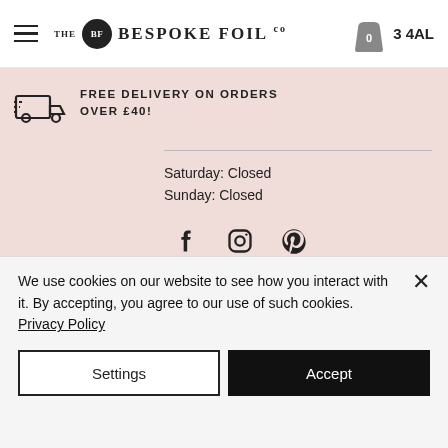THE BF BESPOKE FOIL CO   0   3 4AL
FREE DELIVERY ON ORDERS OVER £40!
Saturday: Closed
Sunday: Closed
[Figure (logo): Social media icons: Facebook, Instagram, Pinterest]
The Bespoke Foil Company are an independent family run business since 2017
We use cookies on our website to see how you interact with it. By accepting, you agree to our use of such cookies. Privacy Policy
Settings
Accept